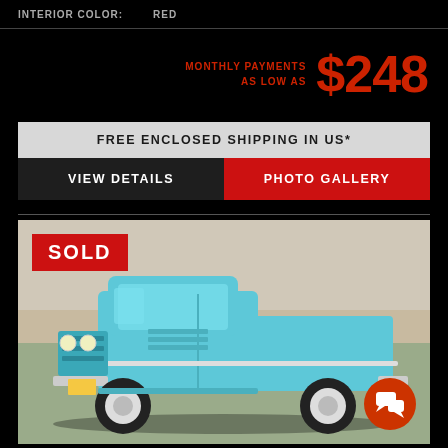INTERIOR COLOR: RED
MONTHLY PAYMENTS AS LOW AS $248
FREE ENCLOSED SHIPPING IN US*
VIEW DETAILS
PHOTO GALLERY
[Figure (photo): A light blue classic pickup truck (circa 1960s Chevrolet C10) with chrome trim and lowered stance, photographed outdoors. A red SOLD badge is overlaid in the top-left corner of the image. A red circular chat button appears at the bottom right.]